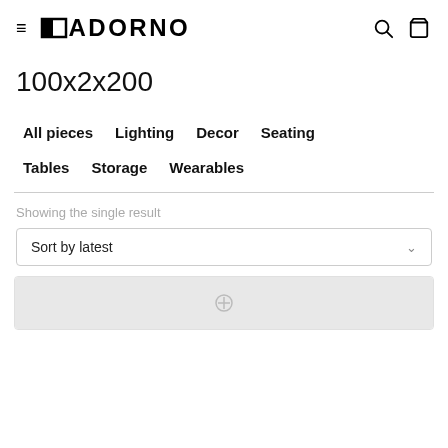≡ ADORNO
100x2x200
All pieces   Lighting   Decor   Seating
Tables   Storage   Wearables
Showing the single result
Sort by latest
[Figure (photo): Product listing card with grey placeholder image]